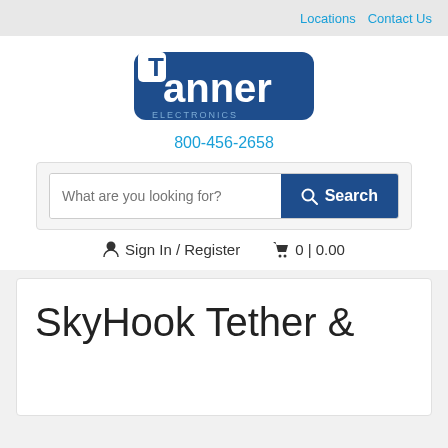Locations   Contact Us
[Figure (logo): Tanner company logo — dark blue rounded rectangle with white text 'Tanner']
800-456-2658
[Figure (screenshot): Search bar with placeholder text 'What are you looking for?' and a blue Search button with magnifying glass icon]
Sign In / Register   0 | 0.00
SkyHook Tether &